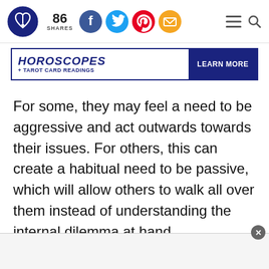86 SHARES — social share bar with Facebook, Twitter, Pinterest, Email icons; hamburger menu and search icons
[Figure (infographic): Horoscopes + Tarot Card Readings banner with Learn More button]
For some, they may feel a need to be aggressive and act outwards towards their issues. For others, this can create a habitual need to be passive, which will allow others to walk all over them instead of understanding the internal dilemma at hand.